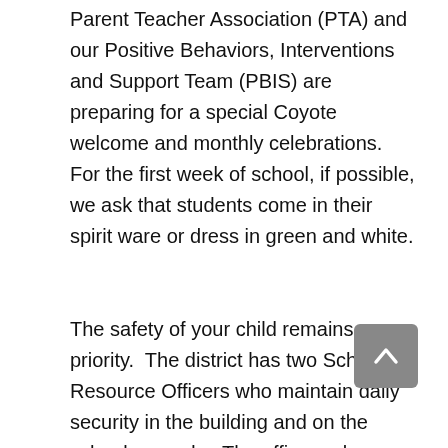Parent Teacher Association (PTA) and our Positive Behaviors, Interventions and Support Team (PBIS) are preparing for a special Coyote welcome and monthly celebrations.  For the first week of school, if possible, we ask that students come in their spirit ware or dress in green and white.
The safety of your child remains a priority.  The district has two School Resource Officers who maintain daily security in the building and on the school grounds.  The officers also assist with drills and update us on best practices.  We have one fire drill each month along with one school safety drill.  These drills are mandated.  Your child's teacher will prepare your child to appropriately